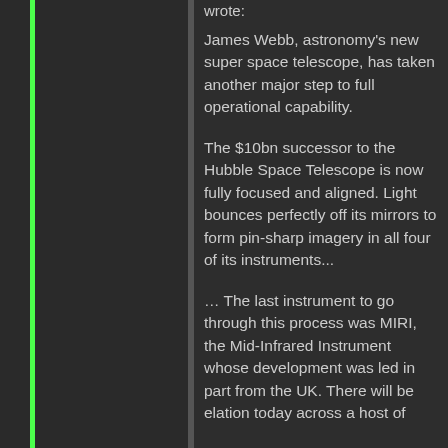wrote:
James Webb, astronomy's new super space telescope, has taken another major step to full operational capability.
The $10bn successor to the Hubble Space Telescope is now fully focused and aligned. Light bounces perfectly off its mirrors to form pin-sharp imagery in all four of its instruments...
… The last instrument to go through this process was MIRI, the Mid-Infrared Instrument whose development was led in part from the UK. There will be elation today across a host of